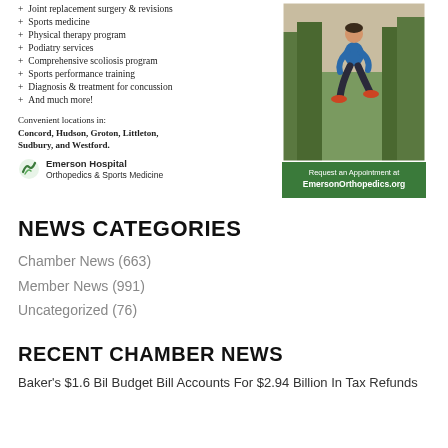Joint replacement surgery & revisions
Sports medicine
Physical therapy program
Podiatry services
Comprehensive scoliosis program
Sports performance training
Diagnosis & treatment for concussion
And much more!
Convenient locations in: Concord, Hudson, Groton, Littleton, Sudbury, and Westford.
[Figure (logo): Emerson Hospital Orthopedics & Sports Medicine logo with green leaf icon]
[Figure (photo): Person running outdoors in blue jacket and dark pants, with green bar at bottom reading: Request an Appointment at EmersonOrthopedics.org]
NEWS CATEGORIES
Chamber News (663)
Member News (991)
Uncategorized (76)
RECENT CHAMBER NEWS
Baker's $1.6 Bil Budget Bill Accounts For $2.94 Billion In Tax Refunds